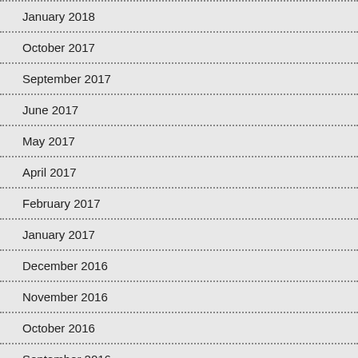January 2018
October 2017
September 2017
June 2017
May 2017
April 2017
February 2017
January 2017
December 2016
November 2016
October 2016
September 2016
August 2016